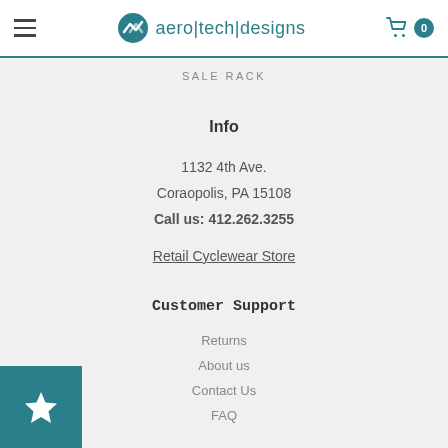aero|tech|designs — SALE RACK
Info
1132 4th Ave.
Coraopolis, PA 15108
Call us: 412.262.3255
Retail Cyclewear Store
Customer Support
Returns
About us
Contact Us
FAQ